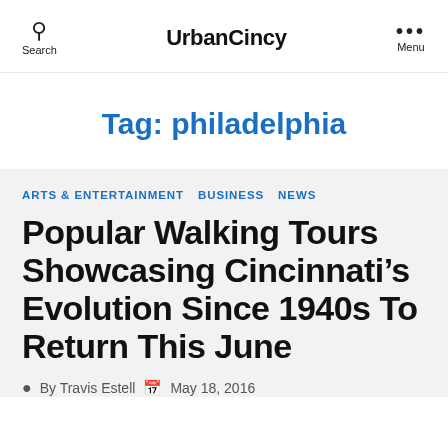UrbanCincy
Tag: philadelphia
ARTS & ENTERTAINMENT  BUSINESS  NEWS
Popular Walking Tours Showcasing Cincinnati's Evolution Since 1940s To Return This June
By Travis Estell   May 18, 2016